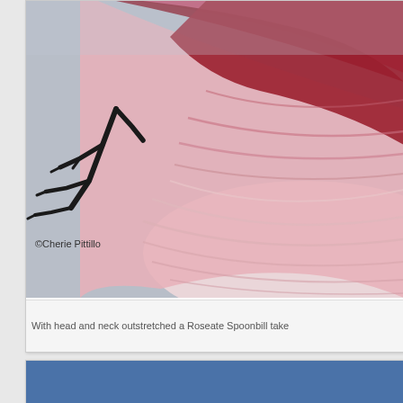[Figure (photo): Close-up photograph of a Roseate Spoonbill in flight with head and neck outstretched. The bird's wings are spread wide showing pink and deep rose-red feathers against a gray sky. The bird's dark feet/talons are visible. Photo credit: ©Cherie Pittillo]
With head and neck outstretched a Roseate Spoonbill take
[Figure (photo): Bottom partial card showing a blue header/banner area, partially cropped at bottom of page.]